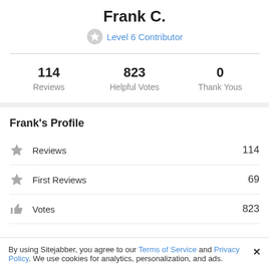Frank C.
Level 6 Contributor
114 Reviews   823 Helpful Votes   0 Thank Yous
Frank's Profile
Reviews 114
First Reviews 69
Votes 823
By using Sitejabber, you agree to our Terms of Service and Privacy Policy. We use cookies for analytics, personalization, and ads.